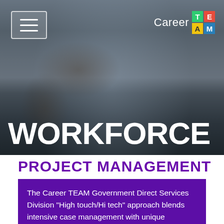[Figure (photo): Hero image of a person holding a pen/marker, wearing a patterned shirt with a yellow wristband, shown from mid-torso. Dark overlay applied to bottom portion.]
Career TEAM (logo with colored tiles: T=green, E=red, A=yellow, M=blue)
WORKFORCE
PROJECT MANAGEMENT
The Career TEAM Government Direct Services Division "High touch/Hi tech" approach blends intensive case management with unique technology, while our affiliate site model, online eligibility, and content, allow for greater access to